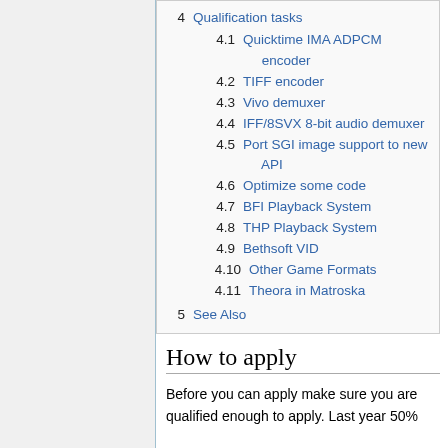4  Qualification tasks
4.1  Quicktime IMA ADPCM encoder
4.2  TIFF encoder
4.3  Vivo demuxer
4.4  IFF/8SVX 8-bit audio demuxer
4.5  Port SGI image support to new API
4.6  Optimize some code
4.7  BFI Playback System
4.8  THP Playback System
4.9  Bethsoft VID
4.10  Other Game Formats
4.11  Theora in Matroska
5  See Also
How to apply
Before you can apply make sure you are qualified enough to apply. Last year 50%